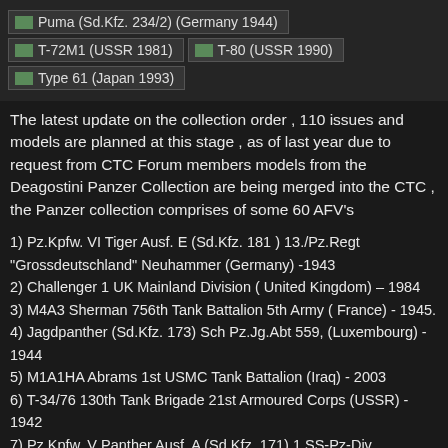[Figure (screenshot): Gallery thumbnails showing: Puma (Sd.Kfz. 234/2) (Germany 1944), T-72M1 (USSR 1981), T-80 (USSR 1990), Type 61 (Japan 1993)]
The latest update on the collection order , 110 issues and models are planned at this stage , as of last year due to request from CTC Forum members models from the Deagostini Panzer Collection are being merged into the CTC , the Panzer collection comprises of some 60 AFV's
1) Pz.Kpfw. VI Tiger Ausf. E (Sd.Kfz. 181 ) 13./Pz.Regt “Grossdeutschland” Neuhammer (Germany) -1943
2) Challenger 1 UK Mainland Division ( United Kingdom) – 1984
3) M4A3 Sherman 756th Tank Battalion 5th Army ( France) - 1945.
4) Jagdpanther (Sd.Kfz. 173) Sch Pz.Jg.Abt 559, (Luxembourg) - 1944
5) M1A1HA Abrams 1st USMC Tank Battalion (Iraq) - 2003
6) T-34/76 130th Tank Brigade 21st Armoured Corps (USSR) - 1942
7) Pz.Kpfw. V Panther Ausf. A (Sd.Kfz. 171) 1.SS-Pz-Div. «LSSAH», Normandy (France) - 1944
8) Chieftain Mk.V BAOR, Brussels (Belgium) - 1979 Paint scheme in...